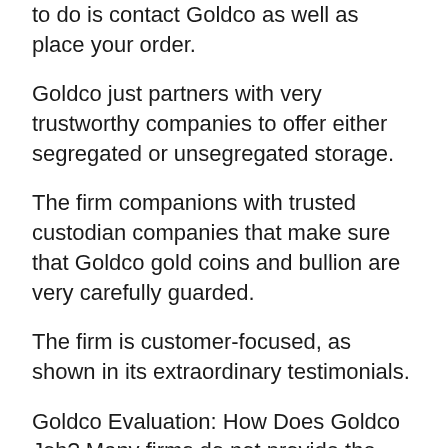to do is contact Goldco as well as place your order.
Goldco just partners with very trustworthy companies to offer either segregated or unsegregated storage.
The firm companions with trusted custodian companies that make sure that Goldco gold coins and bullion are very carefully guarded.
The firm is customer-focused, as shown in its extraordinary testimonials.
Goldco Evaluation: How Does Goldco Job? Many firms do not provide the option to invest in precious metal IRAs, restricting employees to supplies, bonds, ETFs, as well